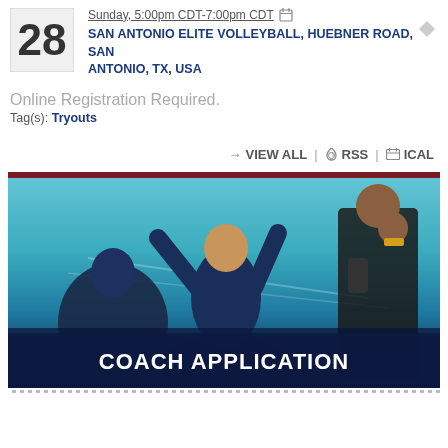28
Sunday, 5:00pm CDT-7:00pm CDT
SAN ANTONIO ELITE VOLLEYBALL, HUEBNER ROAD, SAN ANTONIO, TX, USA
Online Registration Required.
Tag(s): Tryouts
→ VIEW ALL | RSS | ICAL
[Figure (photo): A volleyball coach celebrating with arms raised, wearing a dark blue jersey, with a referee/official visible in the background against a teal/blue court background. Overlay text reads COACH APPLICATION.]
COACH APPLICATION